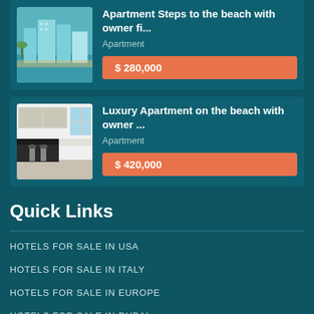[Figure (photo): Aerial photo of beachside apartment complex with ocean view]
Apartment Steps to the beach with owner fi...
Apartment
$ 280,000
[Figure (photo): Interior photo of luxury apartment kitchen/dining area]
Luxury Apartment on the beach with owner ...
Apartment
$ 420,000
Quick Links
HOTELS FOR SALE IN USA
HOTELS FOR SALE IN ITALY
HOTELS FOR SALE IN EUROPE
HOTELS FOR SALE IN DUBAI